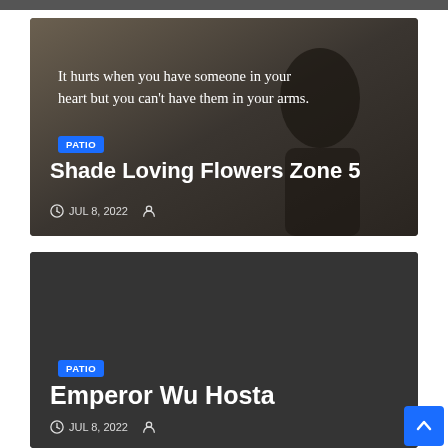[Figure (photo): Partial top strip of a dark image]
[Figure (photo): Dark moody photo of a silhouetted person with a quote overlay: 'It hurts when you have someone in your heart but you can't have them in your arms.']
PATIO
Shade Loving Flowers Zone 5
JUL 8, 2022
[Figure (photo): Dark grey/charcoal background image for second card]
PATIO
Emperor Wu Hosta
JUL 8, 2022